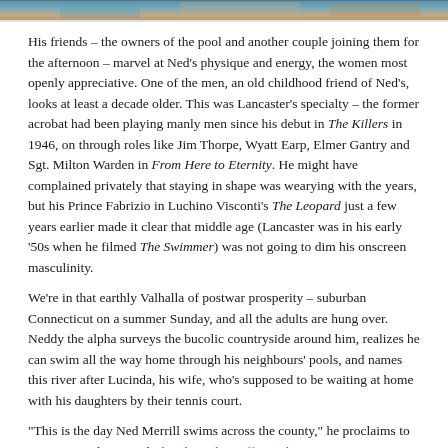[Figure (photo): Partial image strip at top of page showing a swimming pool scene with colorful water and skin tones visible]
His friends – the owners of the pool and another couple joining them for the afternoon – marvel at Ned's physique and energy, the women most openly appreciative. One of the men, an old childhood friend of Ned's, looks at least a decade older. This was Lancaster's specialty – the former acrobat had been playing manly men since his debut in The Killers in 1946, on through roles like Jim Thorpe, Wyatt Earp, Elmer Gantry and Sgt. Milton Warden in From Here to Eternity. He might have complained privately that staying in shape was wearying with the years, but his Prince Fabrizio in Luchino Visconti's The Leopard just a few years earlier made it clear that middle age (Lancaster was in his early '50s when he filmed The Swimmer) was not going to dim his onscreen masculinity.
We're in that earthly Valhalla of postwar prosperity – suburban Connecticut on a summer Sunday, and all the adults are hung over. Neddy the alpha surveys the bucolic countryside around him, realizes he can swim all the way home through his neighbours' pools, and names this river after Lucinda, his wife, who's supposed to be waiting at home with his daughters by their tennis court.
"This is the day Ned Merrill swims across the county," he proclaims to everyone and no one, before bounding off into the